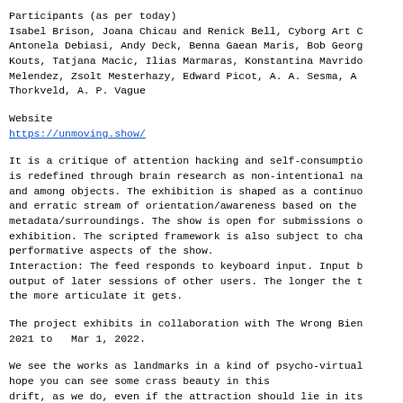Participants (as per today)
Isabel Brison, Joana Chicau and Renick Bell, Cyborg Art C
Antonela Debiasi, Andy Deck, Benna Gaean Maris, Bob Georg
Kouts, Tatjana Macic, Ilias Marmaras, Konstantina Mavrido
Melendez, Zsolt Mesterhazy, Edward Picot, A. A. Sesma, A
Thorkveld, A. P. Vague
Website
https://unmoving.show/
It is a critique of attention hacking and self-consumptio
is redefined through brain research as non-intentional na
and among objects. The exhibition is shaped as a continuo
and erratic stream of orientation/awareness based on the
metadata/surroundings. The show is open for submissions o
exhibition. The scripted framework is also subject to cha
performative aspects of the show.
Interaction: The feed responds to keyboard input. Input b
output of later sessions of other users. The longer the t
the more articulate it gets.
The project exhibits in collaboration with The Wrong Bien
2021 to  Mar 1, 2022.
We see the works as landmarks in a kind of psycho-virtual
hope you can see some crass beauty in this
drift, as we do, even if the attraction should lie in its
character. For all its moving, its purpose and result
remain an unmoving show.